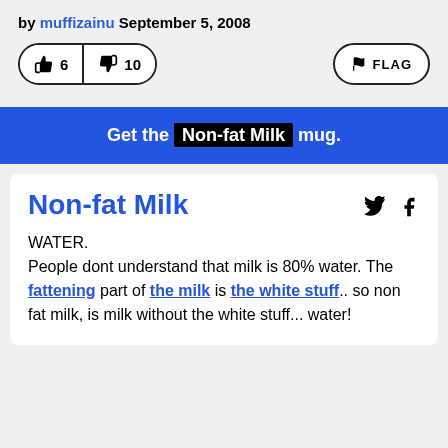by muffizainu September 5, 2008
[Figure (infographic): Thumbs up vote button showing 6, thumbs down vote button showing 10, and a FLAG button on the right]
Get the Non-fat Milk mug.
Non-fat Milk
WATER.
People dont understand that milk is 80% water. The fattening part of the milk is the white stuff.. so non fat milk, is milk without the white stuff... water!